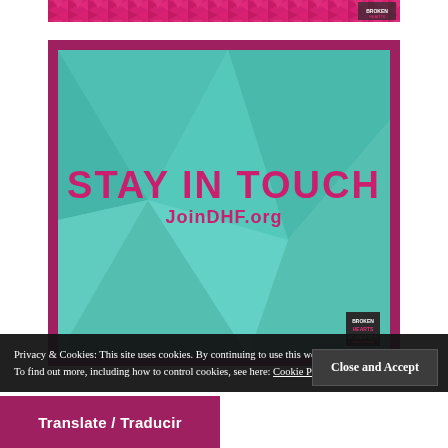[Figure (illustration): Partial top strip of a decorative pink/magenta patterned image, cropped at top of page]
[Figure (illustration): A teal geometric poster with magenta/pink border reading 'STAY IN TOUCH' and 'JoinDHF.org' with a small Broken Hearts Foundation logo in bottom right corner]
Privacy & Cookies: This site uses cookies. By continuing to use this website, you agree to their use.
To find out more, including how to control cookies, see here: Cookie Policy
Close and Accept
Translate / Traducir